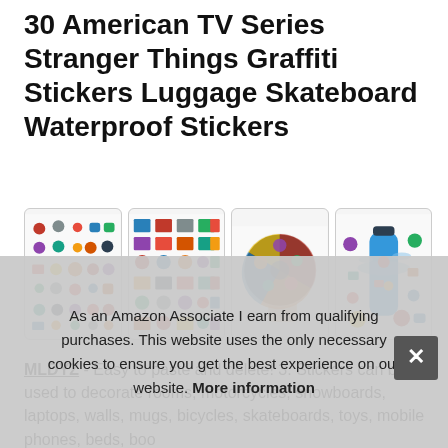30 American TV Series Stranger Things Graffiti Stickers Luggage Skateboard Waterproof Stickers
[Figure (photo): Four product images of Stranger Things sticker packs: sheet of individual stickers, grid of small stickers, circular collage of stickers held by hand, and stickers on a water bottle.]
MLDYZ - Easy to paste and delete! 3. Stickers can be used to decorate rooms, motorcycles, snowboards, laptops, walls, mugs, bicycles, skateboards, toys, mobile phones, beds, boo
4. If let u imag...
As an Amazon Associate I earn from qualifying purchases. This website uses the only necessary cookies to ensure you get the best experience on our website. More information